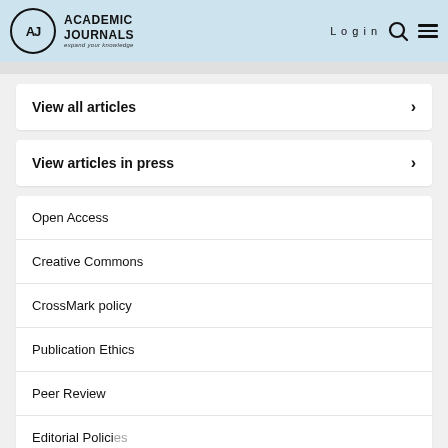Academic Journals — expand your knowledge | Login
View all articles
View articles in press
Open Access
Creative Commons
CrossMark policy
Publication Ethics
Peer Review
Editorial Policies